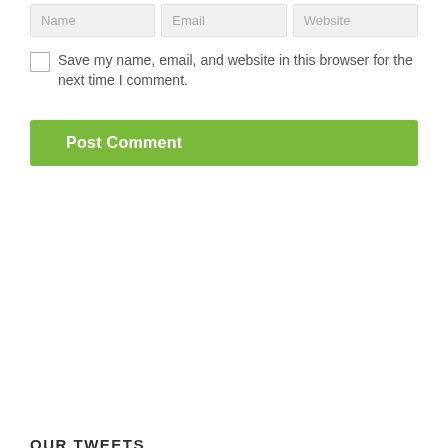[Figure (screenshot): Three input fields: Name, Email, Website placeholder inputs in light gray]
Save my name, email, and website in this browser for the next time I comment.
[Figure (screenshot): Post Comment button in green]
OUR TWEETS
Tweets by @SQUASHTRAVEL
LATEST NEWS